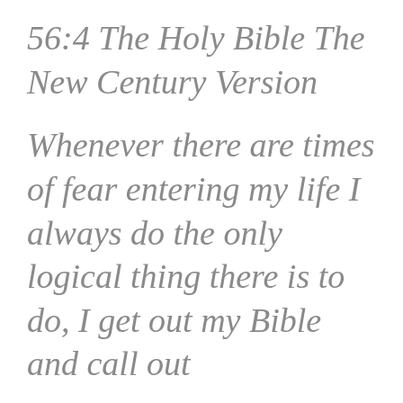56:4 The Holy Bible The New Century Version
Whenever there are times of fear entering my life I always do the only logical thing there is to do, I get out my Bible and call out